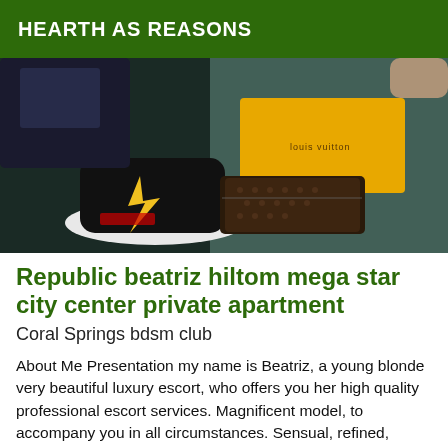HEARTH AS REASONS
[Figure (photo): Photo showing sneakers and a Louis Vuitton wallet/clutch with yellow packaging box on a teal/grey carpet floor]
Republic beatriz hiltom mega star city center private apartment
Coral Springs bdsm club
About Me Presentation my name is Beatriz, a young blonde very beautiful luxury escort, who offers you her high quality professional escort services. Magnificent model, to accompany you in all circumstances. Sensual, refined, cultured and discreet. I practice everything and I